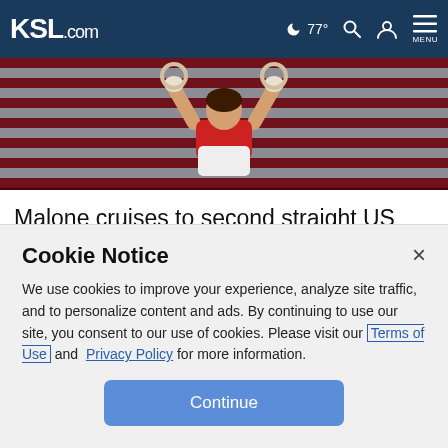KSL.com — 77° MENU
[Figure (photo): Gymnast on rings in front of American flag]
Malone cruises to second straight US gymnastics title
[Figure (photo): Close-up of a gymnast's face with competition signage in background]
Cookie Notice
We use cookies to improve your experience, analyze site traffic, and to personalize content and ads. By continuing to use our site, you consent to our use of cookies. Please visit our Terms of Use and Privacy Policy for more information.
Continue